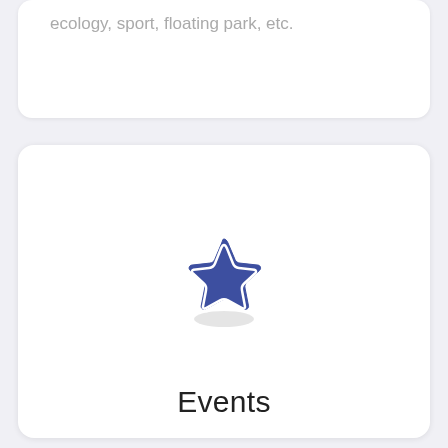ecology, sport, floating park, etc.
[Figure (illustration): A rounded star icon in dark blue/indigo color with a white outline and subtle drop shadow, centered on a white card.]
Events
Ceremonies, parades, races, and Normandy free concerts... all the program is in the App !